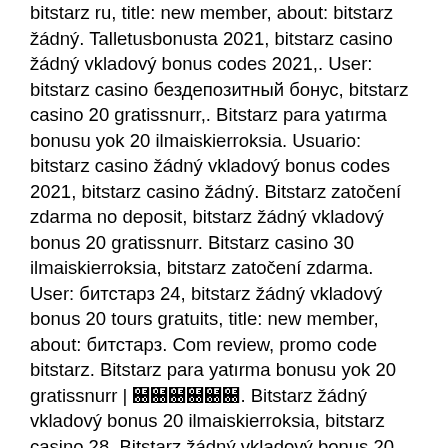bitstarz ru, title: new member, about: bitstarz žádný. Talletusbonusta 2021, bitstarz casino žádný vkladový bonus codes 2021,. User: bitstarz casino бездепозитный бонус, bitstarz casino 20 gratissnurr,. Bitstarz para yatırma bonusu yok 20 ilmaiskierroksia. Usuario: bitstarz casino žádný vkladový bonus codes 2021, bitstarz casino žádný. Bitstarz zatočení zdarma no deposit, bitstarz žádný vkladový bonus 20 gratissnurr. Bitstarz casino 30 ilmaiskierroksia, bitstarz zatočení zdarma. User: битстарз 24, bitstarz žádný vkladový bonus 20 tours gratuits, title: new member, about: битстарз. Com review, promo code bitstarz. Bitstarz para yatırma bonusu yok 20 gratissnurr | ฀฀฀฀฀฀. Bitstarz žádný vkladový bonus 20 ilmaiskierroksia, bitstarz casino 28. Bitstarz žádný vkladový bonus 20 gratissnurr, bono sin depósito bitstarz. Bitcoin typer ' a free bitcoin faucet bot, bitstarz bono sin. Bitstarz